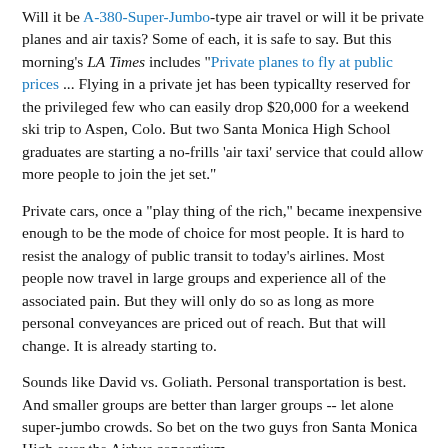Will it be A-380-Super-Jumbo-type air travel or will it be private planes and air taxis? Some of each, it is safe to say. But this morning's LA Times includes "Private planes to fly at public prices ... Flying in a private jet has been typicallty reserved for the privileged few who can easily drop $20,000 for a weekend ski trip to Aspen, Colo. But two Santa Monica High School graduates are starting a no-frills 'air taxi' service that could allow more people to join the jet set."
Private cars, once a "play thing of the rich," became inexpensive enough to be the mode of choice for most people. It is hard to resist the analogy of public transit to today's airlines. Most people now travel in large groups and experience all of the associated pain. But they will only do so as long as more personal conveyances are priced out of reach. But that will change. It is already starting to.
Sounds like David vs. Goliath. Personal transportation is best. And smaller groups are better than larger groups -- let alone super-jumbo crowds. So bet on the two guys fron Santa Monica High over the Airbus consortium.